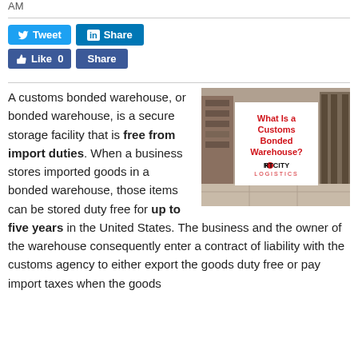AM
Tweet
Share (LinkedIn)
Like 0
Share (Facebook)
A customs bonded warehouse, or bonded warehouse, is a secure storage facility that is free from import duties. When a business stores imported goods in a bonded warehouse, those items can be stored duty free for up to five years in the United States. The business and the owner of the warehouse consequently enter a contract of liability with the customs agency to either export the goods duty free or pay import taxes when the goods
[Figure (infographic): Warehouse interior with a sign reading 'What Is a Customs Bonded Warehouse?' with Port City Logistics logo]